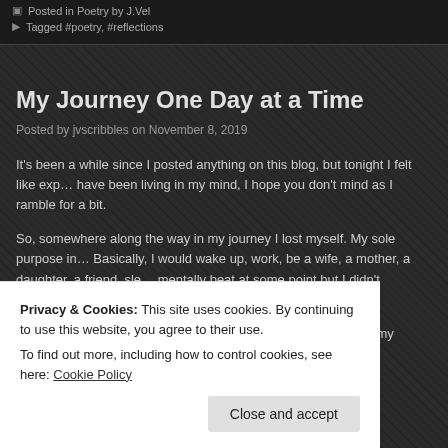Posted in Poetry by J.Vel
Tagged #poetry, #reflections
My Journey One Day at a Time
Posted by jvscribbles on November 8, 2019
It's been a while since I posted anything on this blog, but tonight I felt like exp... have been living in my mind, I hope you don't mind as I ramble for a bit.
So, somewhere along the way in my journey I lost myself. My sole purpose in... Basically, I would wake up, work, be a wife, a mother, a daughter, a friend, sle... mentally beat at some point but I didn't recognize it, I just kept going through...
I gained small joys in little moments of peace or moments with my daughter. S...
Privacy & Cookies: This site uses cookies. By continuing to use this website, you agree to their use.
To find out more, including how to control cookies, see here: Cookie Policy
Close and accept